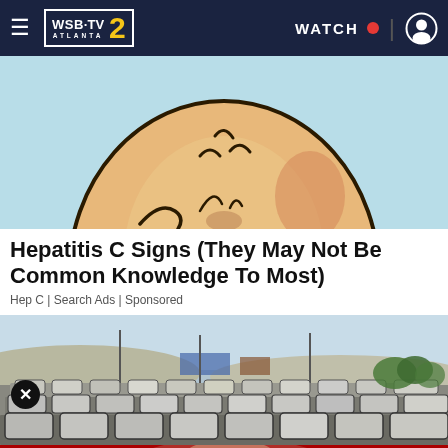WSB-TV 2 ATLANTA | WATCH | [user icon]
[Figure (illustration): Cartoon illustration of a large protruding belly/stomach on a light blue background, showing skin with some redness, cropped showing the torso area]
Hepatitis C Signs (They May Not Be Common Knowledge To Most)
Hep C | Search Ads | Sponsored
[Figure (photo): Aerial/wide view of a large parking lot filled with many white/silver cars, with buildings and hills visible in the background under a blue sky]
[Figure (photo): Bottom banner advertisement for Macy's: 'KISS BORING LIPS GOODBYE' with photo of woman with red lips, and 'SHOP NOW' button with Macy's star logo]